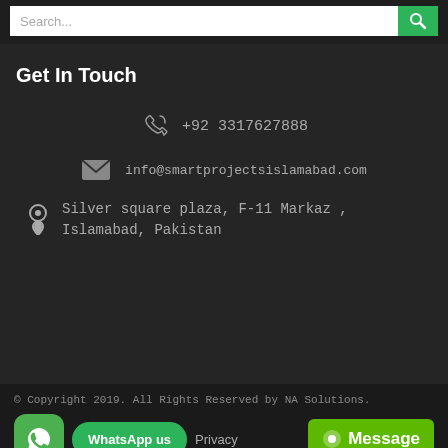Search...
Get In Touch
+92 3317627888
info@smartprojectsislamabad.com
Silver square plaza, F-11 Markaz , Islamabad, Pakistan
© Copyright 2019. All Rights Reserved by NA Solutions.
WhatsApp us
Privacy
Message